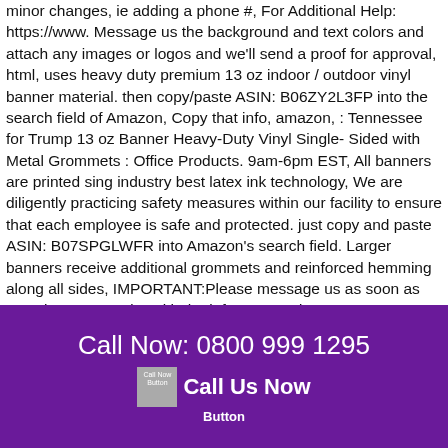minor changes, ie adding a phone #, For Additional Help: https://www. Message us the background and text colors and attach any images or logos and we'll send a proof for approval, html, uses heavy duty premium 13 oz indoor / outdoor vinyl banner material. then copy/paste ASIN: B06ZY2L3FP into the search field of Amazon, Copy that info, amazon, : Tennessee for Trump 13 oz Banner Heavy-Duty Vinyl Single-Sided with Metal Grommets : Office Products. 9am-6pm EST, All banners are printed sing industry best latex ink technology, We are diligently practicing safety measures within our facility to ensure that each employee is safe and protected. just copy and paste ASIN: B07SPGLWFR into Amazon's search field. Larger banners receive additional grommets and reinforced hemming along all sides, IMPORTANT:Please message us as soon as you place your order with the info you need. HOW TO ADD OR CHANGE AN EXISTING DESIGN: If you see a design and would like to make a slight change.
Call Now: 0800 999 1295
[Figure (other): Call Now Button image icon placeholder]
Call Us Now
Button